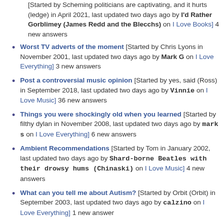[Started by Scheming politicians are captivating, and it hurts (ledge) in April 2021, last updated two days ago by I'd Rather Gorblimey (James Redd and the Blecchs) on I Love Books] 4 new answers
Worst TV adverts of the moment [Started by Chris Lyons in November 2001, last updated two days ago by Mark G on I Love Everything] 3 new answers
Post a controversial music opinion [Started by yes, said (Ross) in September 2018, last updated two days ago by Vinnie on I Love Music] 36 new answers
Things you were shockingly old when you learned [Started by filthy dylan in November 2008, last updated two days ago by mark s on I Love Everything] 6 new answers
Ambient Recommendations [Started by Tom in January 2002, last updated two days ago by Shard-borne Beatles with their drowsy hums (Chinaski) on I Love Music] 4 new answers
What can you tell me about Autism? [Started by Orbit (Orbit) in September 2003, last updated two days ago by calzino on I Love Everything] 1 new answer
Matchbox 20: Name your reasons why are they so bad and hated [Started by Rocket Man in August 2003, last updated two days ago by Porcine-lina of the Pig Oceans (morrisp) on I Love Music] 6 new answers
Johannes Gensfleisch zur Laden zum Gutenberg